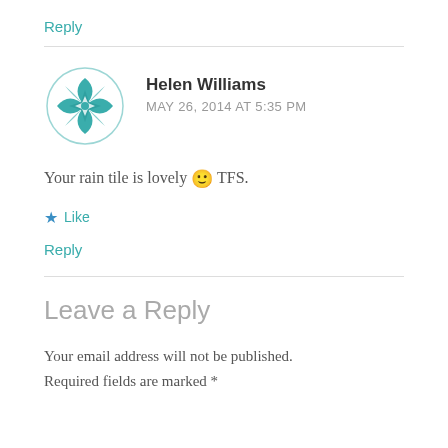Reply
[Figure (illustration): Teal geometric floral avatar icon for Helen Williams]
Helen Williams
MAY 26, 2014 AT 5:35 PM
Your rain tile is lovely 🙂 TFS.
★ Like
Reply
Leave a Reply
Your email address will not be published. Required fields are marked *